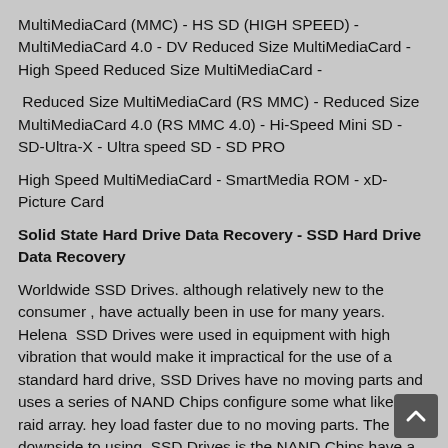MultiMediaCard (MMC) - HS SD (HIGH SPEED) - MultiMediaCard 4.0 - DV Reduced Size MultiMediaCard - High Speed Reduced Size MultiMediaCard -
Reduced Size MultiMediaCard (RS MMC) - Reduced Size MultiMediaCard 4.0 (RS MMC 4.0) - Hi-Speed Mini SD - SD-Ultra-X - Ultra speed SD - SD PRO
High Speed MultiMediaCard - SmartMedia ROM - xD-Picture Card
Solid State Hard Drive Data Recovery - SSD Hard Drive Data Recovery
Worldwide SSD Drives. although relatively new to the consumer , have actually been in use for many years. Helena  SSD Drives were used in equipment with high vibration that would make it impractical for the use of a standard hard drive, SSD Drives have no moving parts and uses a series of NAND Chips configure some what like a raid array. hey load faster due to no moving parts. The downside to using  SSD Drives is the NAND Chips have a read and write limitation and recovery of data from a failed  SSD Drive is more complex and costly then from a mechanical hard drive. To ensure no data lost, we recommend backing all data u on a very frequent bases, especially when using  SSD Drives. Hybrid  SSD Drives are a combination of a mechanical hard drive and a NAND chip. The drives are generally set up to store more frequently used data or the NAND chip allowing faster access to the more frequently used data. The NAND chip on the hybrid drive has the same limitations as